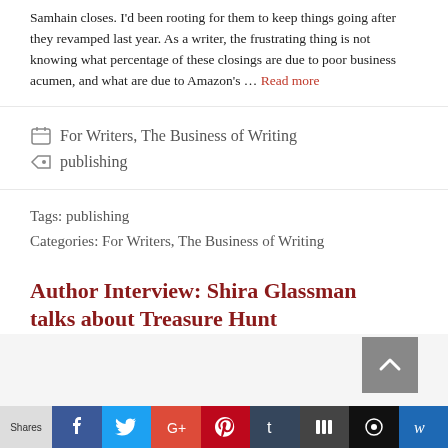Samhain closes. I'd been rooting for them to keep things going after they revamped last year. As a writer, the frustrating thing is not knowing what percentage of these closings are due to poor business acumen, and what are due to Amazon's … Read more
For Writers, The Business of Writing
publishing
Tags: publishing
Categories: For Writers, The Business of Writing
Author Interview: Shira Glassman talks about Treasure Hunt